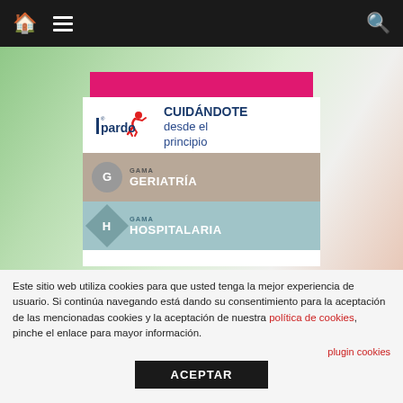Navigation bar with home, menu, and search icons
[Figure (screenshot): Pink banner with white bold text: Suscríbete a la Revista]
[Figure (illustration): Pardo brand advertisement showing logo, CUIDÁNDOTE desde el principio slogan, Gama Geriatría and Gama Hospitalaria product lines]
Este sitio web utiliza cookies para que usted tenga la mejor experiencia de usuario. Si continúa navegando está dando su consentimiento para la aceptación de las mencionadas cookies y la aceptación de nuestra política de cookies, pinche el enlace para mayor información.
plugin cookies
ACEPTAR